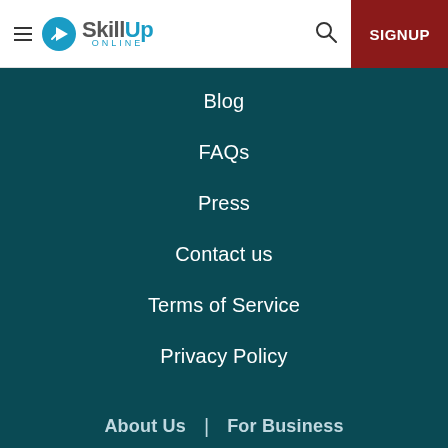SkillUp Online — SIGNUP
Blog
FAQs
Press
Contact us
Terms of Service
Privacy Policy
About Us | For Business